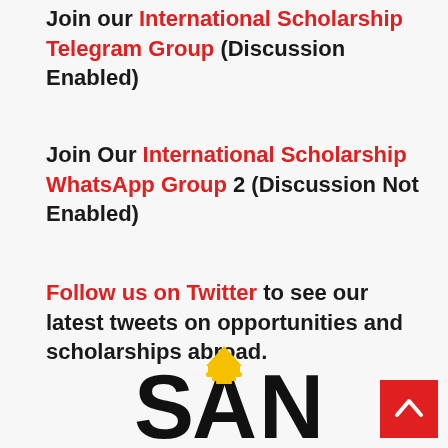Join our International Scholarship Telegram Group (Discussion Enabled)
Join Our International Scholarship WhatsApp Group 2 (Discussion Not Enabled)
Follow us on Twitter to see our latest tweets on opportunities and scholarships abroad.
[Figure (logo): SAN logo with stylized letters S, A (with lamp/graduation cap), N in black and gold/yellow]